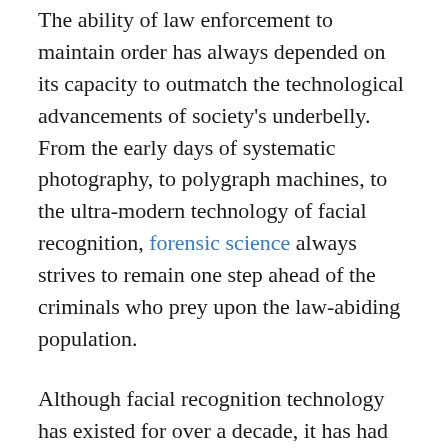The ability of law enforcement to maintain order has always depended on its capacity to outmatch the technological advancements of society's underbelly. From the early days of systematic photography, to polygraph machines, to the ultra-modern technology of facial recognition, forensic science always strives to remain one step ahead of the criminals who prey upon the law-abiding population.
Although facial recognition technology has existed for over a decade, it has had its limitations. Until recently, criminals were able to beat facial recognition if the image of them was not fully captured, i.e. profile or partially covered face. (The recent failure of facial recognition in the Boston bomber manhunt is a great example of that limitation.)
This inadequacy may now be a thing of the past, as facial